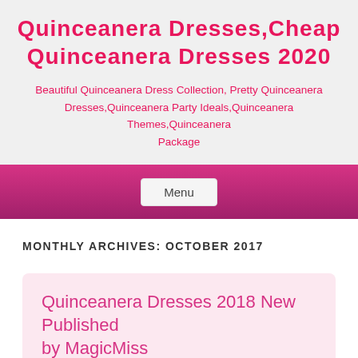Quinceanera Dresses,Cheap Quinceanera Dresses 2020
Beautiful Quinceanera Dress Collection, Pretty Quinceanera Dresses,Quinceanera Party Ideals,Quinceanera Themes,Quinceanera Package
Menu
MONTHLY ARCHIVES: OCTOBER 2017
Quinceanera Dresses 2018 New Published by MagicMiss